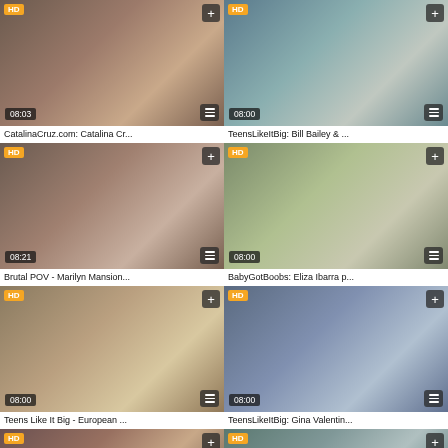[Figure (screenshot): Video thumbnail grid showing 8 video cards in 2-column layout, each with HD badge, duration, plus button, list button, and title]
CatalinaCruz.com: Catalina Cr...
TeensLikeItBig: Bill Bailey & ...
Brutal POV - Marilyn Mansion...
BabyGotBoobs: Eliza Ibarra p...
Teens Like It Big - European ...
TeensLikeItBig: Gina Valentin...